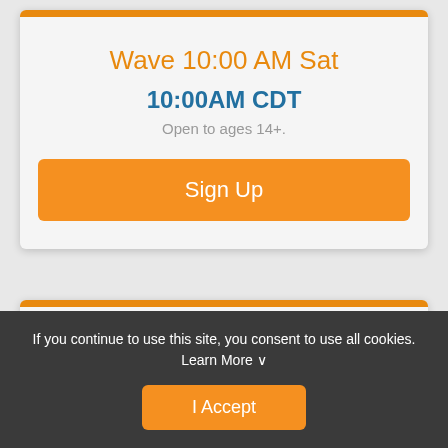Wave 10:00 AM Sat
10:00AM CDT
Open to ages 14+.
Sign Up
Wave 10:20 AM Sat
If you continue to use this site, you consent to use all cookies. Learn More
I Accept